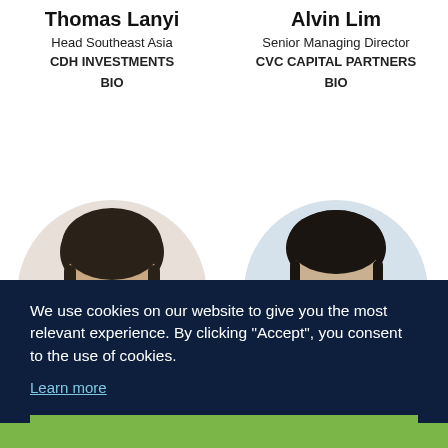Thomas Lanyi
Head Southeast Asia
CDH INVESTMENTS
BIO
Alvin Lim
Senior Managing Director
CVC CAPITAL PARTNERS
BIO
[Figure (photo): Headshot photo of Thomas Lanyi (left) and Alvin Lim (right) in circular crop frames]
We use cookies on our website to give you the most relevant experience. By clicking “Accept”, you consent to the use of cookies.
Learn more
Accept